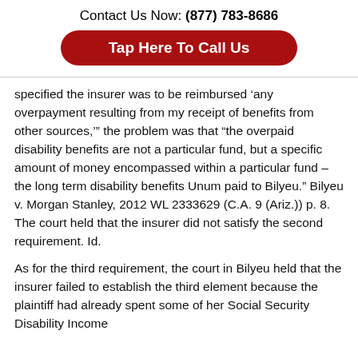Contact Us Now: (877) 783-8686
Tap Here To Call Us
specified the insurer was to be reimbursed ‘any overpayment resulting from my receipt of benefits from other sources,’” the problem was that “the overpaid disability benefits are not a particular fund, but a specific amount of money encompassed within a particular fund – the long term disability benefits Unum paid to Bilyeu.” Bilyeu v. Morgan Stanley, 2012 WL 2333629 (C.A. 9 (Ariz.)) p. 8. The court held that the insurer did not satisfy the second requirement. Id.
As for the third requirement, the court in Bilyeu held that the insurer failed to establish the third element because the plaintiff had already spent some of her Social Security Disability Income